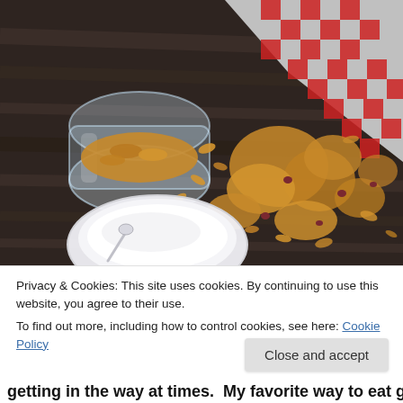[Figure (photo): A glass mason jar tipped on its side on a dark wooden surface, spilling granola with oats and dried cranberries. In the bottom left, a white bowl of yogurt with a spoon. In the upper right, a red and white checkered cloth napkin.]
Privacy & Cookies: This site uses cookies. By continuing to use this website, you agree to their use.
To find out more, including how to control cookies, see here: Cookie Policy
Close and accept
getting in the way at times.  My favorite way to eat granola